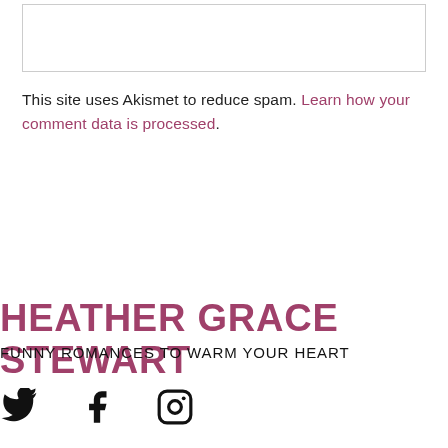[Figure (other): Input/textarea box with border]
This site uses Akismet to reduce spam. Learn how your comment data is processed.
HEATHER GRACE STEWART
FUNNY ROMANCES TO WARM YOUR HEART
[Figure (other): Social media icons: Twitter, Facebook, Instagram]